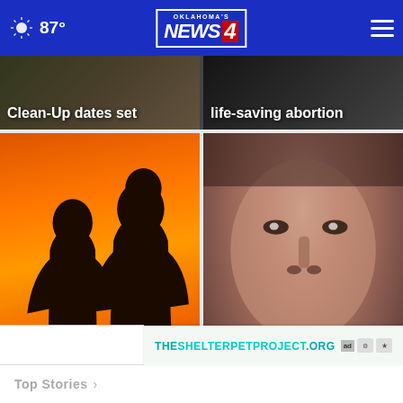Oklahoma's News 4 — 87°
Clean-Up dates set
life-saving abortion
[Figure (photo): Silhouettes of two people against an orange background]
US life expectancy plunged in 2021 for second year
[Figure (photo): Close-up photo of a young man's face]
10 years later: Family still seeking justice after ...
THESHELTERPETPROJECT.ORG
Top Stories